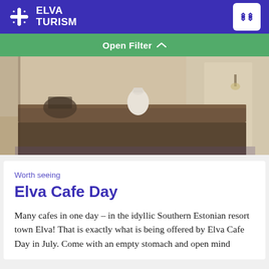ELVA TURISM
Open Filter
[Figure (photo): Blurry interior of a cafe showing a wooden counter with a white pitcher/kettle and dark furniture in a warm-toned room]
Worth seeing
Elva Cafe Day
Many cafes in one day – in the idyllic Southern Estonian resort town Elva! That is exactly what is being offered by Elva Cafe Day in July. Come with an empty stomach and open mind